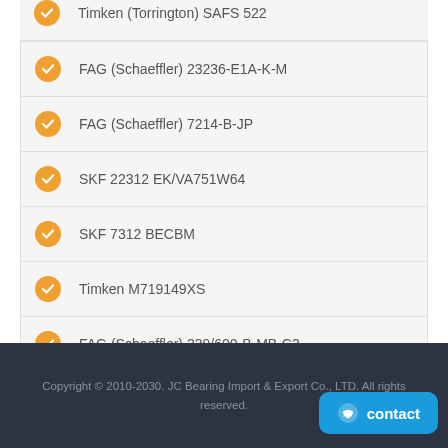Timken (Torrington) SAFS 522
FAG (Schaeffler) 23236-E1A-K-M
FAG (Schaeffler) 7214-B-JP
SKF 22312 EK/VA751W64
SKF 7312 BECBM
Timken M719149XS
FAG (Schaeffler) 239/600-B-MB-C3
Copyright © 2010-2030. JC Bearing Import & Export Co., LTD. All rights reserved.